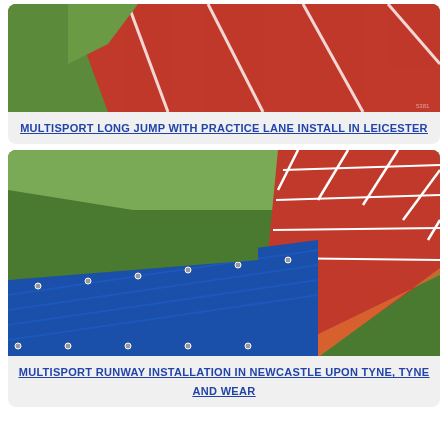[Figure (photo): Red running tracks with white lane markings and green grass border, aerial/angled view]
MULTISPORT LONG JUMP WITH PRACTICE LANE INSTALL IN LEICESTER
[Figure (photo): Long jump runway installation showing red rubberized track surface with white grid markings, and a large blue tarpaulin/cover on green grass, with construction equipment in background]
MULTISPORT RUNWAY INSTALLATION IN NEWCASTLE UPON TYNE, TYNE AND WEAR